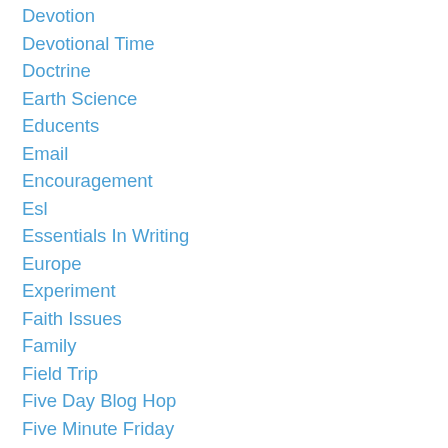Devotion
Devotional Time
Doctrine
Earth Science
Educents
Email
Encouragement
Esl
Essentials In Writing
Europe
Experiment
Faith Issues
Family
Field Trip
Five Day Blog Hop
Five Minute Friday
Five Minute Friday
Five On The Fifth
Flyby Promotions
FoodBank